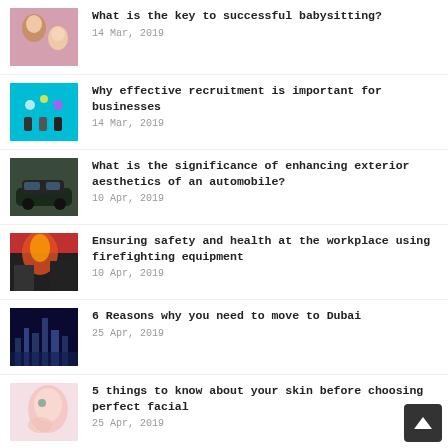[Figure (photo): Thumbnail of a child and adult for babysitting article]
What is the key to successful babysitting?
14 Mar, 2019
[Figure (photo): Thumbnail showing recruitment/business people graphic]
Why effective recruitment is important for businesses
14 Mar, 2019
[Figure (photo): Thumbnail of a dark automobile]
What is the significance of enhancing exterior aesthetics of an automobile?
10 Apr, 2019
[Figure (photo): Thumbnail of firefighters at a blaze]
Ensuring safety and health at the workplace using firefighting equipment
10 Apr, 2019
[Figure (photo): Thumbnail of Dubai cityscape at night]
6 Reasons why you need to move to Dubai
25 Apr, 2019
[Figure (photo): Thumbnail of a woman touching her face/skin]
5 things to know about your skin before choosing perfect facial
25 Apr, 2019